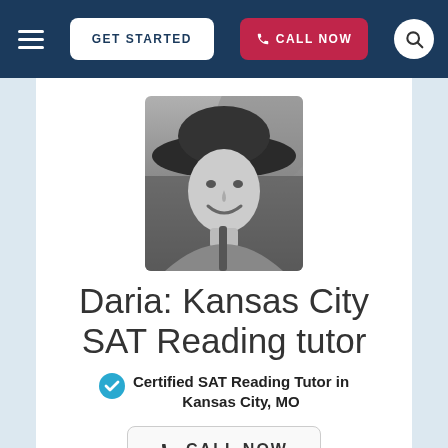GET STARTED  CALL NOW
[Figure (photo): Black and white photo of Daria, a young woman wearing a wide-brimmed hat, smiling]
Daria: Kansas City SAT Reading tutor
Certified SAT Reading Tutor in Kansas City, MO
CALL NOW